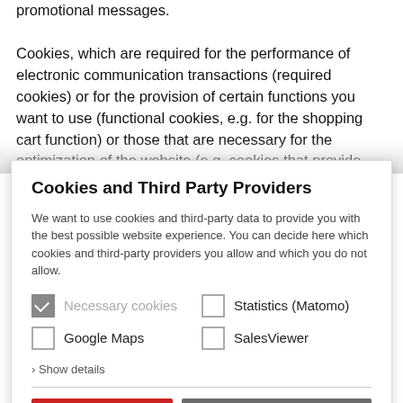promotional messages. Cookies, which are required for the performance of electronic communication transactions (required cookies) or for the provision of certain functions you want to use (functional cookies, e.g. for the shopping cart function) or those that are necessary for the optimization of the website (e.g. cookies that provide measurable insights into the web audience),
Cookies and Third Party Providers
We want to use cookies and third-party data to provide you with the best possible website experience. You can decide here which cookies and third-party providers you allow and which you do not allow.
Necessary cookies (checked)
Statistics (Matomo)
Google Maps
SalesViewer
› Show details
Select and accept all
Only accept selected ones
Data Privacy  Imprint